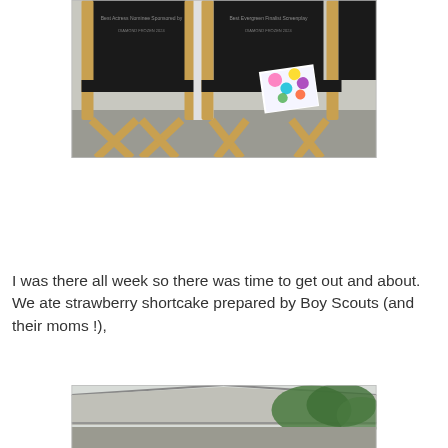[Figure (photo): Two black director's chairs with wooden frames, with text on the chair backs. A colorful book or magazine rests on the seat of the right chair. The setting appears to be an indoor or covered event space.]
I was there all week so there was time to get out and about. We ate strawberry shortcake prepared by Boy Scouts (and their moms !),
[Figure (photo): Partial view of a tent or canopy structure with green trees visible in the background, suggesting an outdoor event.]